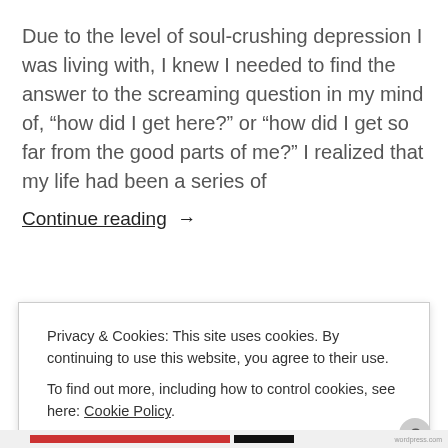Due to the level of soul-crushing depression I was living with, I knew I needed to find the answer to the screaming question in my mind of, “how did I get here?” or “how did I get so far from the good parts of me?” I realized that my life had been a series of
Continue reading →
Privacy & Cookies: This site uses cookies. By continuing to use this website, you agree to their use. To find out more, including how to control cookies, see here: Cookie Policy
Close and accept